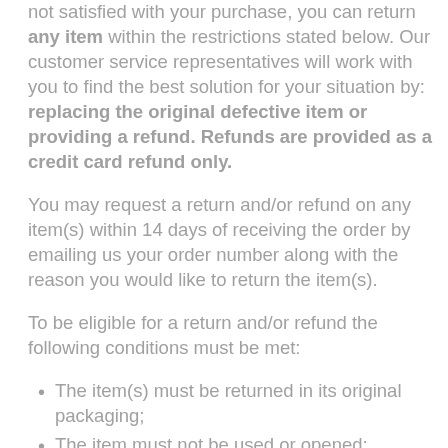not satisfied with your purchase, you can return any item within the restrictions stated below. Our customer service representatives will work with you to find the best solution for your situation by: replacing the original defective item or providing a refund. Refunds are provided as a credit card refund only.
You may request a return and/or refund on any item(s) within 14 days of receiving the order by emailing us your order number along with the reason you would like to return the item(s).
To be eligible for a return and/or refund the following conditions must be met:
The item(s) must be returned in its original packaging;
The item must not be used or opened;
The item must not be damaged except when the reason for return is that the